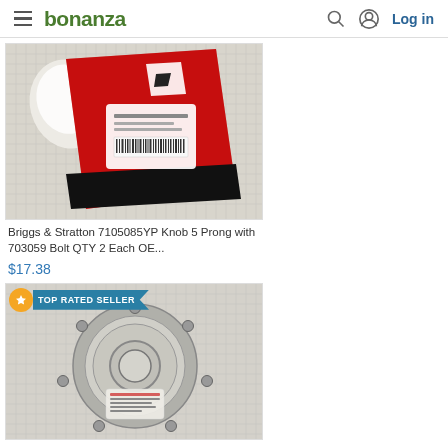bonanza — Log in
[Figure (photo): Product photo of Briggs & Stratton 7105085YP Knob 5 Prong with 703059 Bolt in red packaging on a grid surface]
Briggs & Stratton 7105085YP Knob 5 Prong with 703059 Bolt QTY 2 Each OE...
$17.38
[Figure (photo): Product photo of a circular gasket/flange part on a grid surface, with TOP RATED SELLER badge overlay]